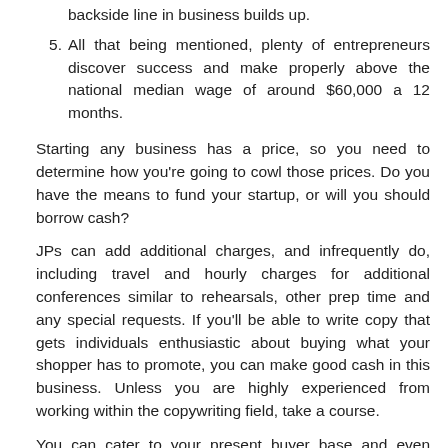backside line in business builds up.
5. All that being mentioned, plenty of entrepreneurs discover success and make properly above the national median wage of around $60,000 a 12 months.
Starting any business has a price, so you need to determine how you're going to cowl those prices. Do you have the means to fund your startup, or will you should borrow cash?
JPs can add additional charges, and infrequently do, including travel and hourly charges for additional conferences similar to rehearsals, other prep time and any special requests. If you'll be able to write copy that gets individuals enthusiastic about buying what your shopper has to promote, you can make good cash in this business. Unless you are highly experienced from working within the copywriting field, take a course.
You can cater to your present buyer base and even discover a new target customer in the identical house. As we simply discussed, one of the biggest downsides of operating a service-based business is that you just're paid strictly on your time, skills, and energy.